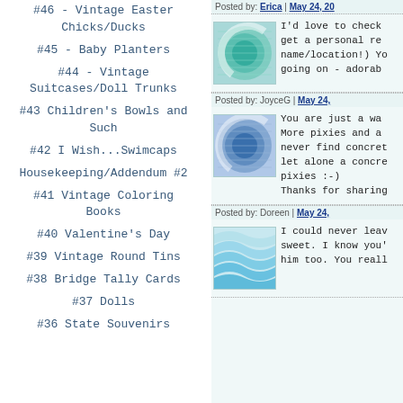#46 - Vintage Easter Chicks/Ducks
#45 - Baby Planters
#44 - Vintage Suitcases/Doll Trunks
#43 Children's Bowls and Such
#42 I Wish...Swimcaps
Housekeeping/Addendum #2
#41 Vintage Coloring Books
#40 Valentine's Day
#39 Vintage Round Tins
#38 Bridge Tally Cards
#37 Dolls
#36 State Souvenirs
Posted by: Erica | May 24, 20...
[Figure (illustration): Teal/green circular swirl pattern thumbnail]
I'd love to check... get a personal re... name/location!) Yo... going on - adorab...
Posted by: JoyceG | May 24,...
[Figure (illustration): Blue circular swirl pattern thumbnail]
You are just a wa... More pixies and a... never find concret... let alone a concre... pixies :-) Thanks for sharing...
Posted by: Doreen | May 24,...
[Figure (illustration): Light blue wave pattern thumbnail]
I could never leav... sweet. I know you'... him too. You reall...